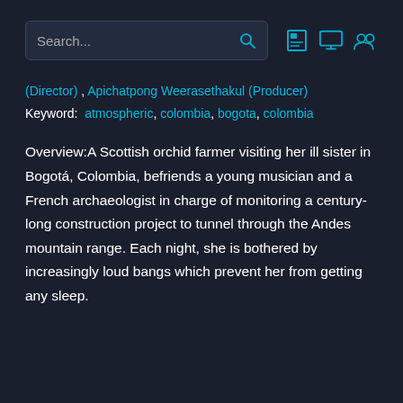Search... [search icon] [save icon] [monitor icon] [people icon]
(Director) , Apichatpong Weerasethakul (Producer)
Keyword: atmospheric, colombia, bogota, colombia
Overview:A Scottish orchid farmer visiting her ill sister in Bogotá, Colombia, befriends a young musician and a French archaeologist in charge of monitoring a century-long construction project to tunnel through the Andes mountain range. Each night, she is bothered by increasingly loud bangs which prevent her from getting any sleep.